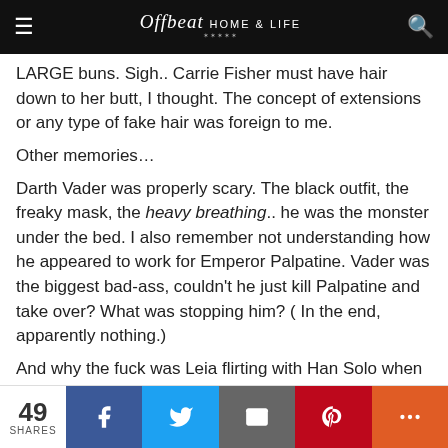Offbeat HOME & LIFE
LARGE buns. Sigh.. Carrie Fisher must have hair down to her butt, I thought. The concept of extensions or any type of fake hair was foreign to me.
Other memories…
Darth Vader was properly scary. The black outfit, the freaky mask, the heavy breathing.. he was the monster under the bed. I also remember not understanding how he appeared to work for Emperor Palpatine. Vader was the biggest bad-ass, couldn't he just kill Palpatine and take over? What was stopping him? ( In the end, apparently nothing.)
And why the fuck was Leia flirting with Han Solo when anybody could see Luke ( Mark Hamill ) was the cutest?? Han Solo looked old and creepy to us and he seemed like kind of a dick. And Luke had a crush on her?? Come on, Leia — get it together! Obviously we had to revise our opinions a…
49 SHARES